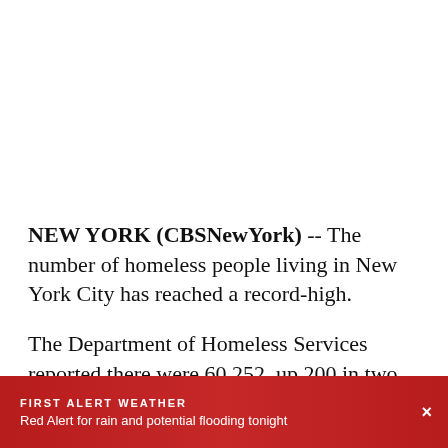NEW YORK (CBSNewYork) -- The number of homeless people living in New York City has reached a record-high.
The Department of Homeless Services reported there were 60,252, up 200 in two weeks.
FIRST ALERT WEATHER
Red Alert for rain and potential flooding tonight